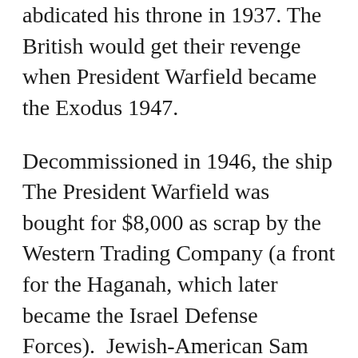abdicated his throne in 1937. The British would get their revenge when President Warfield became the Exodus 1947.
Decommissioned in 1946, the ship The President Warfield was bought for $8,000 as scrap by the Western Trading Company (a front for the Haganah, which later became the Israel Defense Forces).  Jewish-American Sam (the Banana Man) Zemurray was instrumental in obtaining the ship for the Haganah, which would explain its Honduran registration. It was said that  Mr. Zemurray's United Fruit Company pretty much owned Honduras. The President Warfield was refitted in Baltimore and sailed for France on February 25, 1947, where it